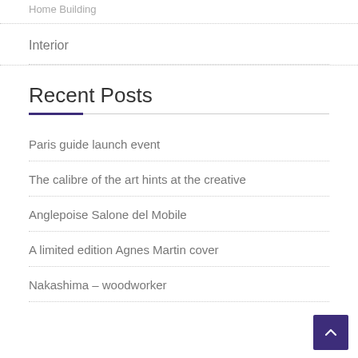Home Building
Interior
Recent Posts
Paris guide launch event
The calibre of the art hints at the creative
Anglepoise Salone del Mobile
A limited edition Agnes Martin cover
Nakashima – woodworker